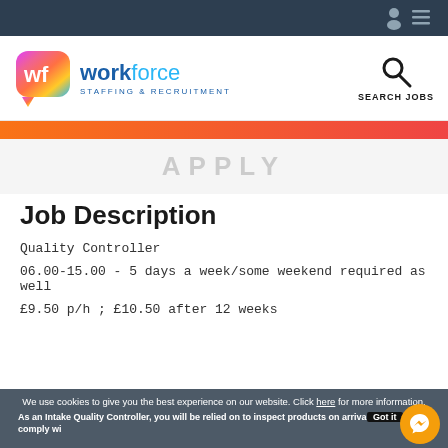Navigation bar with user and menu icons
[Figure (logo): Workforce Staffing & Recruitment logo with colorful 'wf' speech bubble icon]
SEARCH JOBS
APPLY
Job Description
Quality Controller
06.00-15.00 - 5 days a week/some weekend required as well
£9.50 p/h ; £10.50 after 12 weeks
We use cookies to give you the best experience on our website. Click here for more information.
As an Intake Quality Controller, you will be relied on to inspect products on arrival to ensure they comply with specifications and liaise with colleagues in relevant departments to confirm their suitability with this